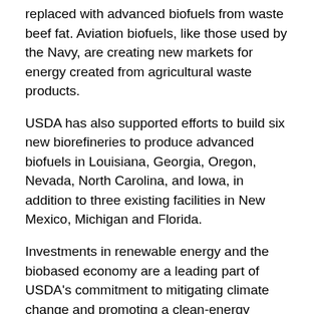replaced with advanced biofuels from waste beef fat. Aviation biofuels, like those used by the Navy, are creating new markets for energy created from agricultural waste products.
USDA has also supported efforts to build six new biorefineries to produce advanced biofuels in Louisiana, Georgia, Oregon, Nevada, North Carolina, and Iowa, in addition to three existing facilities in New Mexico, Michigan and Florida.
Investments in renewable energy and the biobased economy are a leading part of USDA's commitment to mitigating climate change and promoting a clean-energy economy. This month, the Department is examining what a changing climate means to agriculture and how USDA is working to reduce greenhouse gases. For more information, visit Chapter 5 of https://medium.com/usda-results .